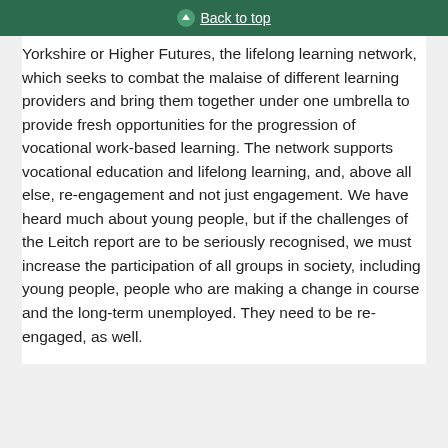Back to top
Yorkshire or Higher Futures, the lifelong learning network, which seeks to combat the malaise of different learning providers and bring them together under one umbrella to provide fresh opportunities for the progression of vocational work-based learning. The network supports vocational education and lifelong learning, and, above all else, re-engagement and not just engagement. We have heard much about young people, but if the challenges of the Leitch report are to be seriously recognised, we must increase the participation of all groups in society, including young people, people who are making a change in course and the long-term unemployed. They need to be re-engaged, as well.